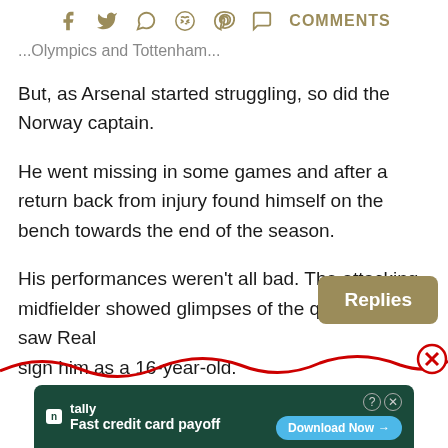COMMENTS (with social share icons: Facebook, Twitter, WhatsApp, Reddit, Pinterest)
...Olympics and Tottenham...
But, as Arsenal started struggling, so did the Norway captain.
He went missing in some games and after a return back from injury found himself on the bench towards the end of the season.
His performances weren't all bad. The attacking midfielder showed glimpses of the quality which saw Real [Madrid] sign him as a 16-year-old.
[Figure (screenshot): Replies tooltip button overlay on article text]
[Figure (infographic): Red wavy line with X close button, advertisement banner for Tally 'Fast credit card payoff' with Download Now button]